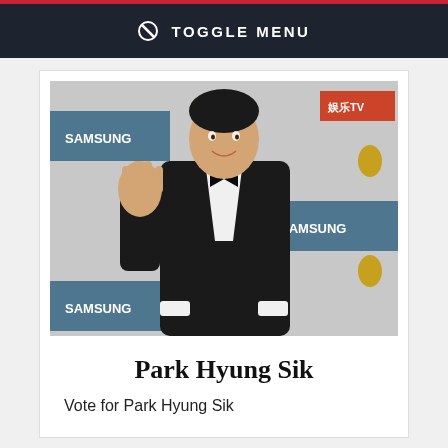⊘ TOGGLE MENU
[Figure (photo): Park Hyung Sik in a black tuxedo with bow tie, waving at a red carpet event with Samsung and TV station banners in the background]
Park Hyung Sik
Vote for Park Hyung Sik
[Figure (photo): Partially visible second photo at the bottom of the page]